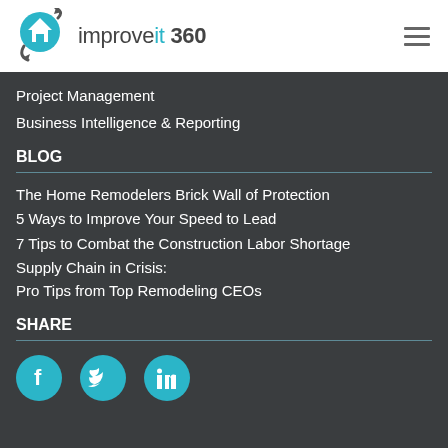improveit 360
Project Management
Business Intelligence & Reporting
BLOG
The Home Remodelers Brick Wall of Protection
5 Ways to Improve Your Speed to Lead
7 Tips to Combat the Construction Labor Shortage
Supply Chain in Crisis:
Pro Tips from Top Remodeling CEOs
SHARE
[Figure (illustration): Social media icons: Facebook, Twitter, LinkedIn — teal circles]